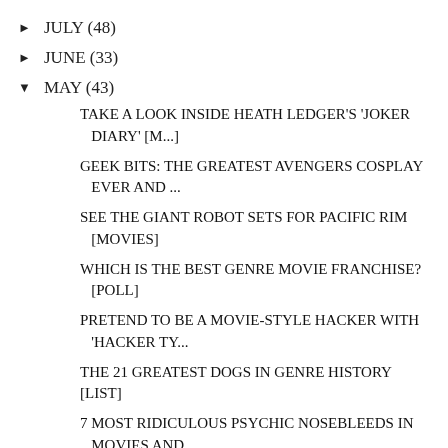► JULY (48)
► JUNE (33)
▼ MAY (43)
TAKE A LOOK INSIDE HEATH LEDGER'S 'JOKER DIARY' [M...
GEEK BITS: THE GREATEST AVENGERS COSPLAY EVER AND ...
SEE THE GIANT ROBOT SETS FOR PACIFIC RIM [MOVIES]
WHICH IS THE BEST GENRE MOVIE FRANCHISE? [POLL]
PRETEND TO BE A MOVIE-STYLE HACKER WITH 'HACKER TY...
THE 21 GREATEST DOGS IN GENRE HISTORY [LIST]
7 MOST RIDICULOUS PSYCHIC NOSEBLEEDS IN MOVIES AND...
MY FIRST COSPLAY EXPERIENCE AT PHOENIX COMICCON 20...
VIDEO MEMORIAL TO BABYLON 5 CAST AND CREW WHO HAVE